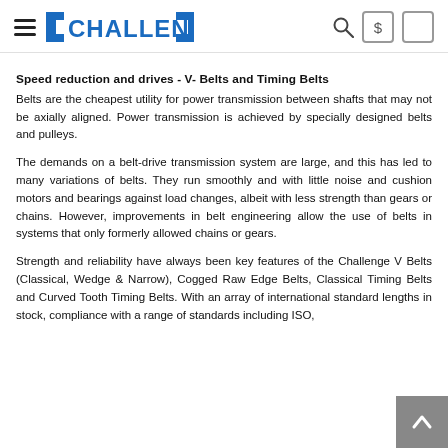CHALLENGE (logo with hamburger menu, search, dollar icon, cart icon)
Speed reduction and drives - V- Belts and Timing Belts
Belts are the cheapest utility for power transmission between shafts that may not be axially aligned. Power transmission is achieved by specially designed belts and pulleys.
The demands on a belt-drive transmission system are large, and this has led to many variations of belts. They run smoothly and with little noise and cushion motors and bearings against load changes, albeit with less strength than gears or chains. However, improvements in belt engineering allow the use of belts in systems that only formerly allowed chains or gears.
Strength and reliability have always been key features of the Challenge V Belts (Classical, Wedge & Narrow), Cogged Raw Edge Belts, Classical Timing Belts and Curved Tooth Timing Belts. With an array of international standard lengths in stock, compliance with a range of standards including ISO,